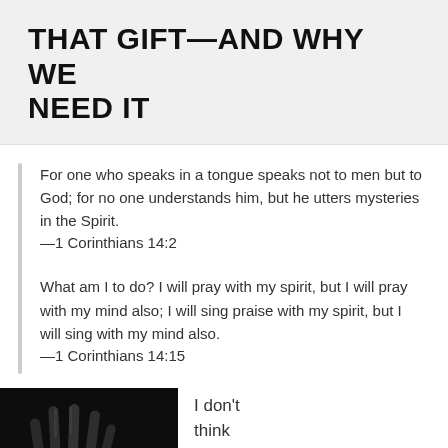THAT GIFT—AND WHY WE NEED IT
For one who speaks in a tongue speaks not to men but to God; for no one understands him, but he utters mysteries in the Spirit.
—1 Corinthians 14:2

What am I to do? I will pray with my spirit, but I will pray with my mind also; I will sing praise with my spirit, but I will sing with my mind also.
—1 Corinthians 14:15
[Figure (photo): Dark photograph of a hand raised against a black background]
I don't think any